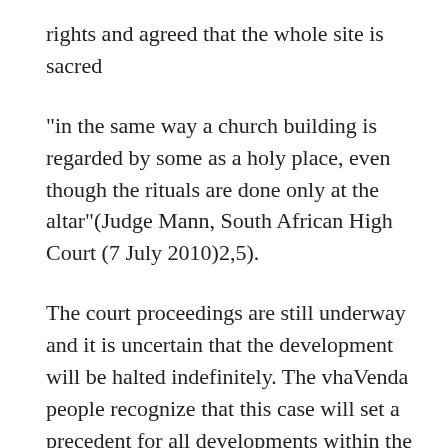rights and agreed that the whole site is sacred
"in the same way a church building is regarded by some as a holy place, even though the rituals are done only at the altar"(Judge Mann, South African High Court (7 July 2010)2,5).
The court proceedings are still underway and it is uncertain that the development will be halted indefinitely. The vhaVenda people recognize that this case will set a precedent for all developments within the Venda sacred forest. In order to secure long term